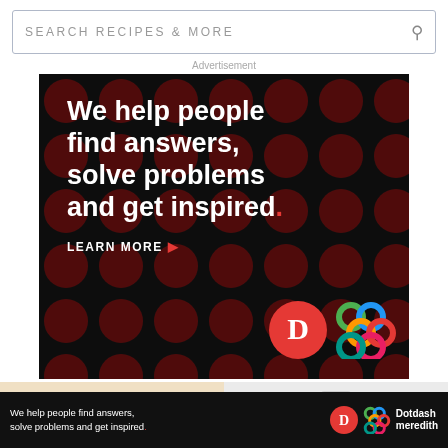SEARCH RECIPES & MORE
Advertisement
[Figure (screenshot): Dark advertisement banner with polka dot pattern. Large white bold text reads: 'We help people find answers, solve problems and get inspired.' with a red period. Below is 'LEARN MORE' with a red arrow. Bottom right shows a red circle with white 'D' logo and a colorful interlocked rings logo.]
[Figure (photo): Beige/tan background showing coffee drink illustrations labeled Espresso, Caffe Americano, Caffe Latte]
[Figure (photo): Light gray background with glass of milk or white drink, partial view]
[Figure (screenshot): Sticky dark advertisement bar at bottom: 'We help people find answers, solve problems and get inspired.' with D logo and Dotdash Meredith branding]